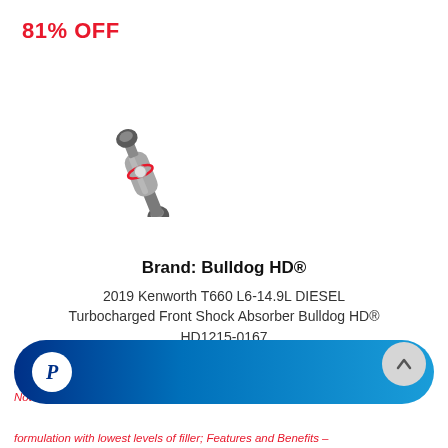81% OFF
[Figure (photo): A gray shock absorber / strut component (Bulldog HD brand) shown diagonally on white background. The part has mounting hardware at both ends and a cylindrical body.]
Brand: Bulldog HD®
2019 Kenworth T660 L6-14.9L DIESEL Turbocharged Front Shock Absorber Bulldog HD® HD1215-0167
Category: Suspension
MPN: BLD-HD1215-0167
Notes: – Qty Req.: 1 Base 1.75; with AC120 Suspension-Bulldog HD /
[Figure (logo): PayPal logo button - dark blue to light blue gradient rounded pill shape with white PayPal 'P' icon on left]
formulation with lowest levels of filler; Features and Benefits –